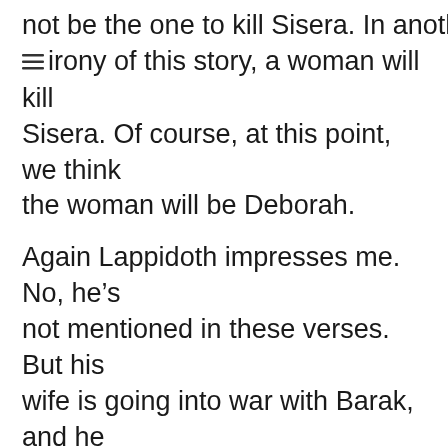But Barak's condition costs him. He will not be the one to kill Sisera. In another irony of this story, a woman will kill Sisera. Of course, at this point, we think the woman will be Deborah.
Again Lappidoth impresses me. No, he's not mentioned in these verses. But his wife is going into war with Barak, and he doesn't forbid her. In all likelihood, he is probably one of the 10,000 who go into battle. Again this unlikely couple obey God, at what could be great cost to them.
Although Barak wanted assurance of God's presence, and it did cost him the